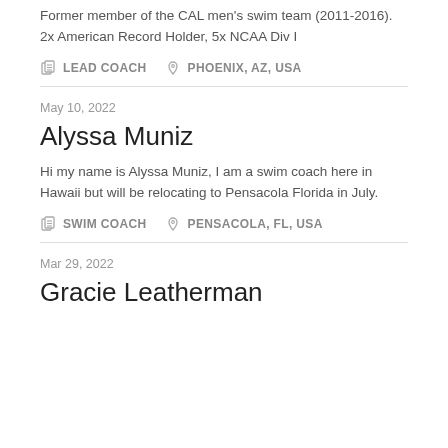Former member of the CAL men's swim team (2011-2016). 2x American Record Holder, 5x NCAA Div I
LEAD COACH   PHOENIX, AZ, USA
May 10, 2022
Alyssa Muniz
Hi my name is Alyssa Muniz, I am a swim coach here in Hawaii but will be relocating to Pensacola Florida in July.
SWIM COACH   PENSACOLA, FL, USA
Mar 29, 2022
Gracie Leatherman